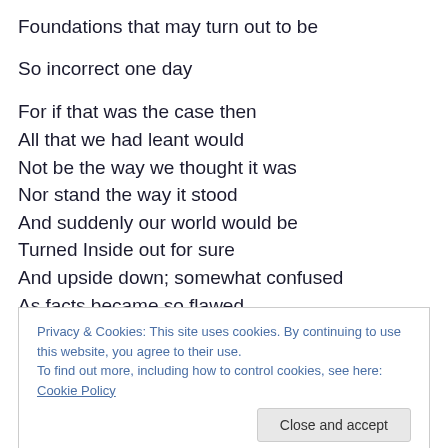Foundations that may turn out to be
So incorrect one day
For if that was the case then
All that we had leant would
Not be the way we thought it was
Nor stand the way it stood
And suddenly our world would be
Turned Inside out for sure
And upside down; somewhat confused
As facts became so flawed
Privacy & Cookies: This site uses cookies. By continuing to use this website, you agree to their use.
To find out more, including how to control cookies, see here: Cookie Policy
And postulation, conjecture